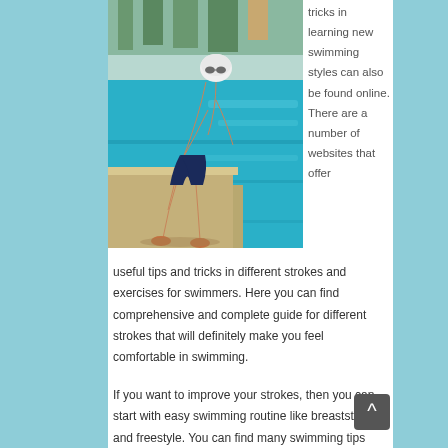[Figure (photo): A male swimmer in dark swim trunks and white swim cap bending over at the edge of a swimming pool, preparing to dive in. The pool has blue water. The scene is outdoors with stone/concrete pool decking visible.]
tricks in learning new swimming styles can also be found online. There are a number of websites that offer useful tips and tricks in different strokes and exercises for swimmers. Here you can find comprehensive and complete guide for different strokes that will definitely make you feel comfortable in swimming.
If you want to improve your strokes, then you can start with easy swimming routine like breaststroke and freestyle. You can find many swimming tips and tricks